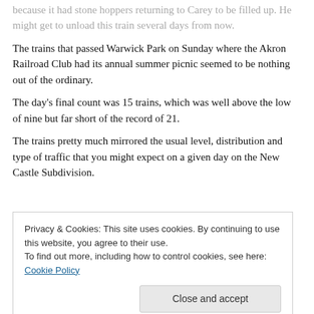because it had stone hoppers returning to Carey to be filled up. He might get to unload this train several days from now.
The trains that passed Warwick Park on Sunday where the Akron Railroad Club had its annual summer picnic seemed to be nothing out of the ordinary.
The day's final count was 15 trains, which was well above the low of nine but far short of the record of 21.
The trains pretty much mirrored the usual level, distribution and type of traffic that you might expect on a given day on the New Castle Subdivision.
Privacy & Cookies: This site uses cookies. By continuing to use this website, you agree to their use. To find out more, including how to control cookies, see here: Cookie Policy